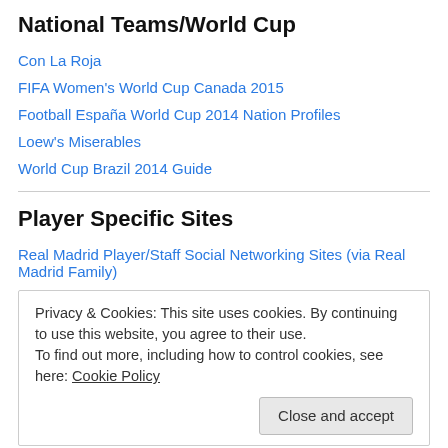National Teams/World Cup
Con La Roja
FIFA Women's World Cup Canada 2015
Football España World Cup 2014 Nation Profiles
Loew's Miserables
World Cup Brazil 2014 Guide
Player Specific Sites
Real Madrid Player/Staff Social Networking Sites (via Real Madrid Family)
Privacy & Cookies: This site uses cookies. By continuing to use this website, you agree to their use. To find out more, including how to control cookies, see here: Cookie Policy
Close and accept
GF Sports